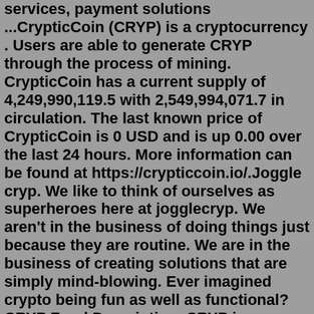services, payment solutions ...CrypticCoin (CRYP) is a cryptocurrency . Users are able to generate CRYP through the process of mining. CrypticCoin has a current supply of 4,249,990,119.5 with 2,549,994,071.7 in circulation. The last known price of CrypticCoin is 0 USD and is up 0.00 over the last 24 hours. More information can be found at https://crypticcoin.io/.Joggle cryp. We like to think of ourselves as superheroes here at jogglecryp. We aren't in the business of doing things just because they are routine. We are in the business of creating solutions that are simply mind-blowing. Ever imagined crypto being fun as well as functional? CRYP Fund Description. CRYP is an actively managed fund-of-funds that aims for long-term capital appreciation by allocating its net assets between bitcoin futures and fixed income securities.The ASX-listed Betashares CRYP ETF broke first day trading records on its 4 November debut. The ETF invests in crypto mining and blockchain-related companies. CRYP launched just